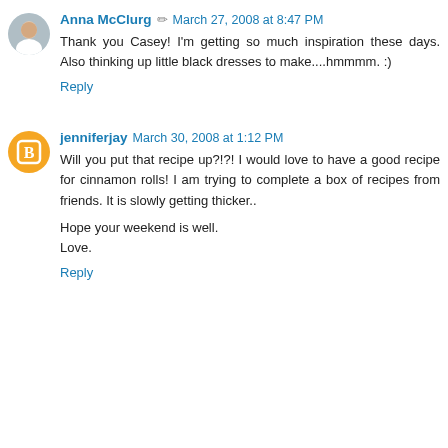Anna McClurg · March 27, 2008 at 8:47 PM
Thank you Casey! I'm getting so much inspiration these days. Also thinking up little black dresses to make....hmmmm. :)
Reply
jenniferjay · March 30, 2008 at 1:12 PM
Will you put that recipe up?!?! I would love to have a good recipe for cinnamon rolls! I am trying to complete a box of recipes from friends. It is slowly getting thicker..

Hope your weekend is well.
Love.
Reply